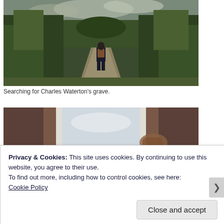[Figure (photo): Person with backpack walking away from camera along a narrow path through tall green vegetation and trees under cloudy sky.]
Searching for Charles Waterton's grave.
[Figure (photo): View through an open window with brown curtains on either side, showing a bright overcast sky and a blurred brown animal (possibly a dog) at the right.]
Privacy & Cookies: This site uses cookies. By continuing to use this website, you agree to their use.
To find out more, including how to control cookies, see here: Cookie Policy
Close and accept